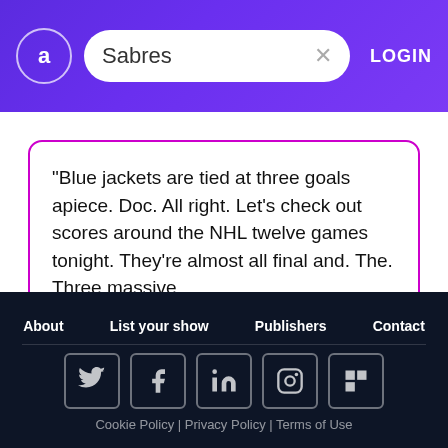[Figure (screenshot): App header with logo circle containing letter 'a', search bar with text 'Sabres' and X button, and LOGIN button, on purple gradient background]
"Blue jackets are tied at three goals apiece. Doc. All right. Let's check out scores around the NHL twelve games tonight. They're almost all final and. The. Three massive...
hockey
NHL
Bruins
About   List your show   Publishers   Contact   Cookie Policy | Privacy Policy | Terms of Use